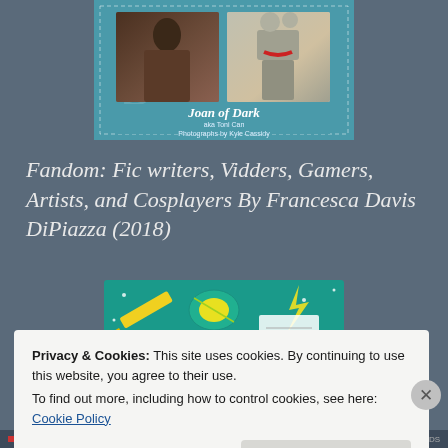[Figure (photo): Book cover of 'Joan of Dark aka Toni Can, Photographs by Kyle Cassidy' showing a woman in brown sweater and a robot figure on teal background]
Fandom: Fic writers, Vidders, Gamers, Artists, and Cosplayers By Francesca Davis DiPiazza (2018)
[Figure (illustration): Colorful illustrated book cover with fandom-themed doodles on teal background]
Privacy & Cookies: This site uses cookies. By continuing to use this website, you agree to their use.
To find out more, including how to control cookies, see here: Cookie Policy
Close and accept